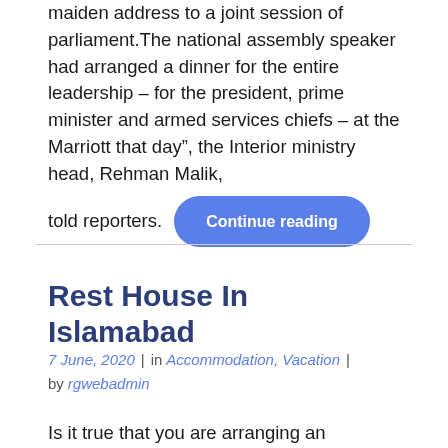maiden address to a joint session of parliament.The national assembly speaker had arranged a dinner for the entire leadership – for the president, prime minister and armed services chiefs – at the Marriott that day”, the Interior ministry head, Rehman Malik, told reporters.
Rest House In Islamabad
7 June, 2020 | in Accommodation, Vacation | by rgwebadmin
Is it true that you are arranging an excursion to